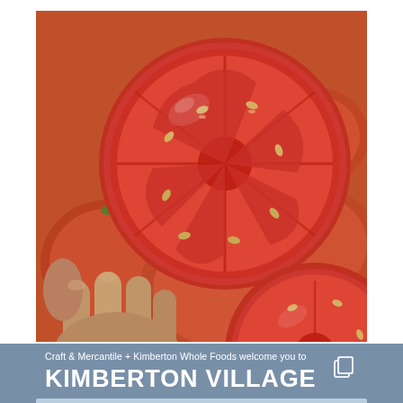[Figure (photo): Close-up photo of a hand holding a sliced tomato cross-section showing seeds and flesh, with whole red tomatoes in the background]
Craft & Mercantile + Kimberton Whole Foods welcome you to
KIMBERTON VILLAGE